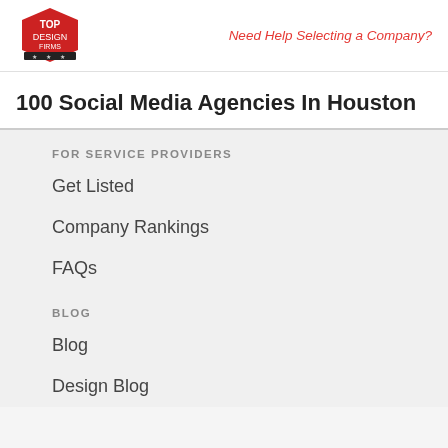Need Help Selecting a Company?
100 Social Media Agencies In Houston
FOR SERVICE PROVIDERS
Get Listed
Company Rankings
FAQs
BLOG
Blog
Design Blog